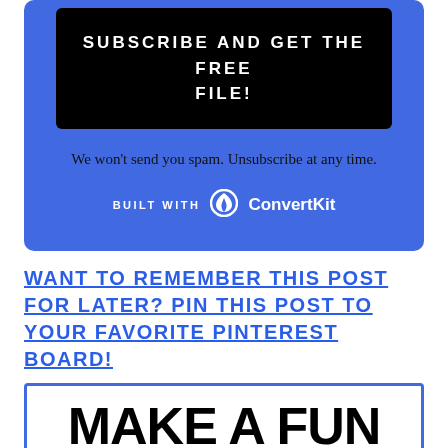SUBSCRIBE AND GET THE FREE FILE!
We won't send you spam. Unsubscribe at any time.
BUILT WITH ConvertKit
WANT TO REMEMBER THIS POST FOR LATER? PIN THIS POST TO YOUR FAVORITE PINTEREST BOARD!
[Figure (other): Partial image showing 'MAKE A FUN' text in large bold black lettering on white background with blue border]